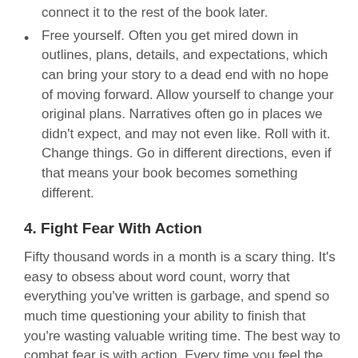connect it to the rest of the book later.
Free yourself. Often you get mired down in outlines, plans, details, and expectations, which can bring your story to a dead end with no hope of moving forward. Allow yourself to change your original plans. Narratives often go in places we didn't expect, and may not even like. Roll with it. Change things. Go in different directions, even if that means your book becomes something different.
4. Fight Fear With Action
Fifty thousand words in a month is a scary thing. It's easy to obsess about word count, worry that everything you've written is garbage, and spend so much time questioning your ability to finish that you're wasting valuable writing time. The best way to combat fear is with action. Every time you feel the need to doubt yourself, or check your word count, force yourself to finish the page. The doubts usually go away for a while. When the come back, be aware of them, and finish the